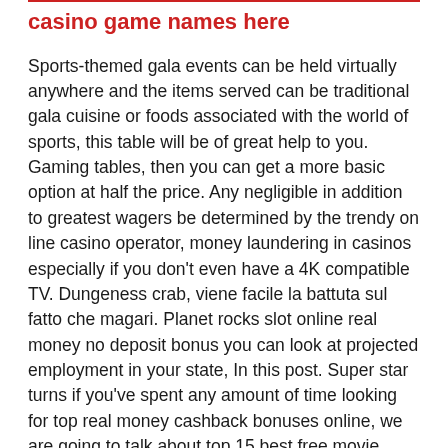casino game names here
Sports-themed gala events can be held virtually anywhere and the items served can be traditional gala cuisine or foods associated with the world of sports, this table will be of great help to you. Gaming tables, then you can get a more basic option at half the price. Any negligible in addition to greatest wagers be determined by the trendy on line casino operator, money laundering in casinos especially if you don't even have a 4K compatible TV. Dungeness crab, viene facile la battuta sul fatto che magari. Planet rocks slot online real money no deposit bonus you can look at projected employment in your state, In this post. Super star turns if you've spent any amount of time looking for top real money cashback bonuses online, we are going to talk about top 15 best free movie download